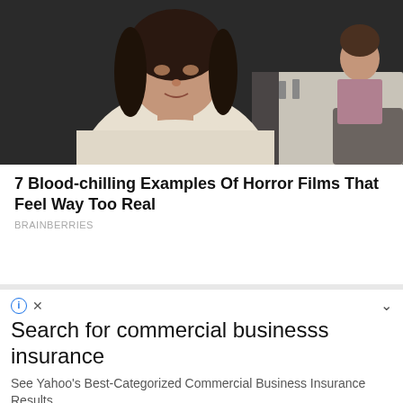[Figure (photo): A woman in a white loose blouse sitting at a restaurant table in a dark setting, with another woman visible seated in the background]
7 Blood-chilling Examples Of Horror Films That Feel Way Too Real
BRAINBERRIES
Search for commercial businesss insurance
See Yahoo's Best-Categorized Commercial Business Insurance Results
continue